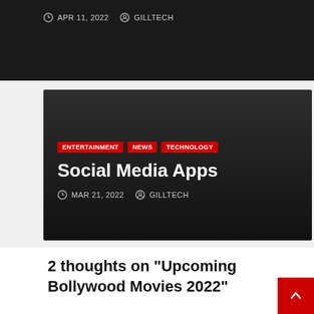APR 11, 2022   GILLTECH
[Figure (screenshot): Dark card with category tags ENTERTAINMENT, NEWS, TECHNOLOGY, title Social Media Apps, and date MAR 21, 2022 by GILLTECH]
Social Media Apps
MAR 21, 2022   GILLTECH
2 thoughts on “Upcoming Bollywood Movies 2022”